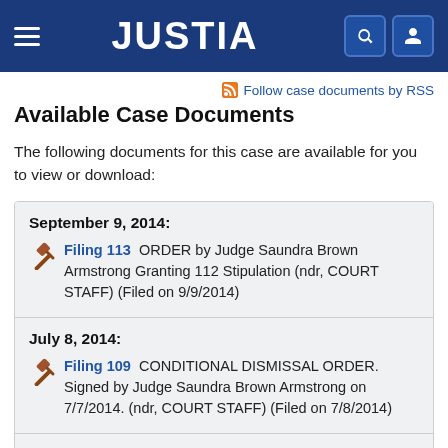JUSTIA
Follow case documents by RSS
Available Case Documents
The following documents for this case are available for you to view or download:
September 9, 2014: Filing 113 ORDER by Judge Saundra Brown Armstrong Granting 112 Stipulation (ndr, COURT STAFF) (Filed on 9/9/2014)
July 8, 2014: Filing 109 CONDITIONAL DISMISSAL ORDER. Signed by Judge Saundra Brown Armstrong on 7/7/2014. (ndr, COURT STAFF) (Filed on 7/8/2014)
May 19, 2014: